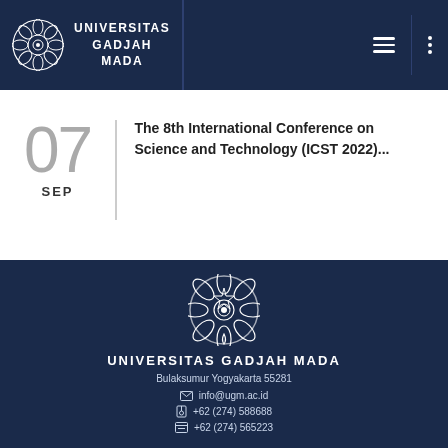UNIVERSITAS GADJAH MADA
07 SEP — The 8th International Conference on Science and Technology (ICST 2022)...
UNIVERSITAS GADJAH MADA
Bulaksumur Yogyakarta 55281
info@ugm.ac.id
+62 (274) 588688
+62 (274) 565223